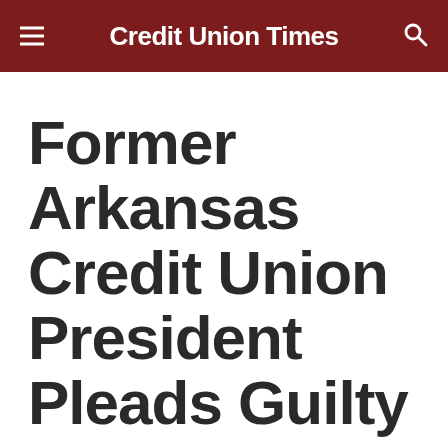Credit Union Times
Former Arkansas Credit Union President Pleads Guilty to